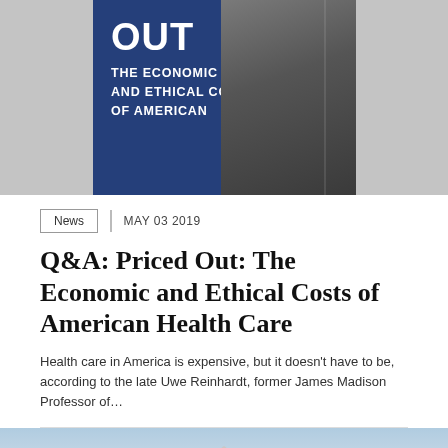[Figure (photo): Book cover showing 'OUT: The Economic and Ethical Costs of American' in white text on blue background, with a man in a suit partially visible on the right side, against a gray background]
News  MAY 03 2019
Q&A: Priced Out: The Economic and Ethical Costs of American Health Care
Health care in America is expensive, but it doesn't have to be, according to the late Uwe Reinhardt, former James Madison Professor of...
[Figure (photo): Architectural photo of a modernist building facade with vertical concrete columns against a cloudy sky]